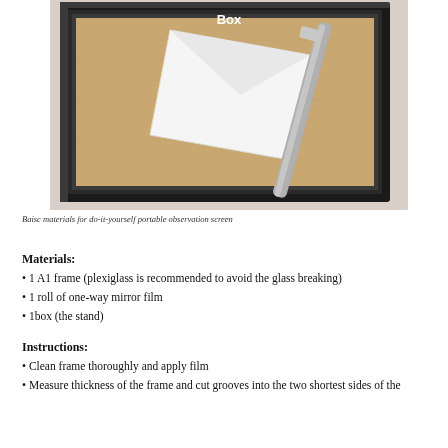[Figure (photo): Photo of a black picture frame viewed from the back, showing brown cardboard backing, with a white folded paper/envelope and a metal rod/tool resting on top. The word 'Box' appears in white text near the top of the frame interior.]
Baisc materials for do-it-yourself portable observation screen
Materials:
1 A1 frame (plexiglass is recommended to avoid the glass breaking)
1 roll of one-way mirror film
1box (the stand)
Instructions:
Clean frame thoroughly and apply film
Measure thickness of the frame and cut grooves into the two shortest sides of the